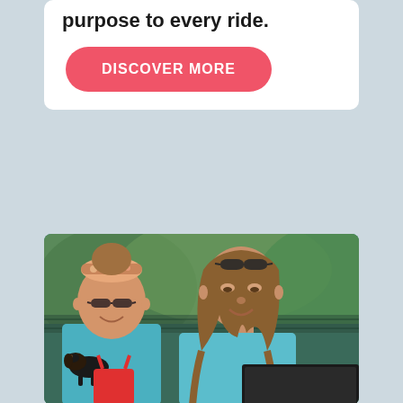purpose to every ride.
DISCOVER MORE
[Figure (photo): Two women smiling outdoors. The woman on the left wears a floral headband and dark sunglasses and is holding a small black dachshund and a red item. The woman on the right has sunglasses on her head, wears a light blue shirt, and is looking down at a dark laptop. Green foliage is visible in the blurred background.]